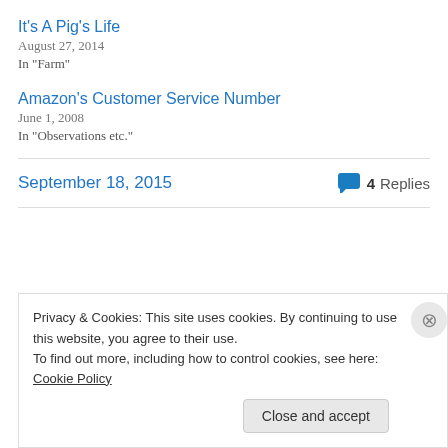It's A Pig's Life
August 27, 2014
In "Farm"
Amazon's Customer Service Number
June 1, 2008
In "Observations etc."
September 18, 2015
4 Replies
« Previous
Next »
Privacy & Cookies: This site uses cookies. By continuing to use this website, you agree to their use.
To find out more, including how to control cookies, see here: Cookie Policy
Close and accept